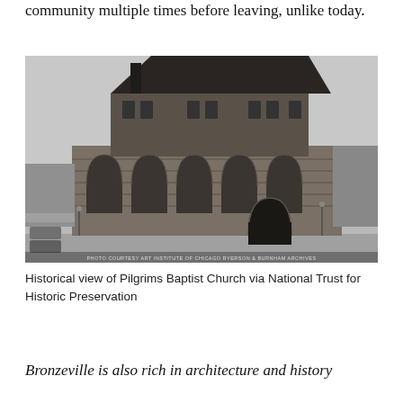community multiple times before leaving, unlike today.
[Figure (photo): Black and white historical photograph of Pilgrims Baptist Church, a large Romanesque Revival brick building with a steep hip roof, arched windows, and an arched entrance, photographed from a street corner. Photo courtesy Art Institute of Chicago Ryerson & Burnham Archives.]
Historical view of Pilgrims Baptist Church via National Trust for Historic Preservation
Bronzeville is also rich in architecture and history